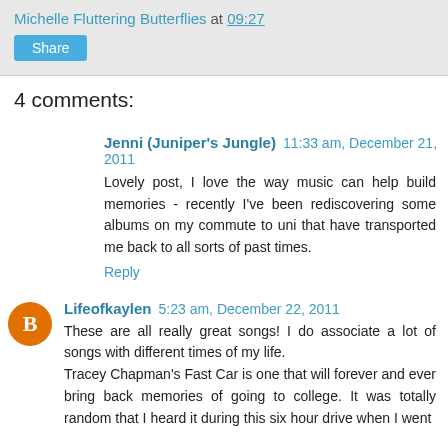Michelle Fluttering Butterflies at 09:27
Share
4 comments:
Jenni (Juniper's Jungle) 11:33 am, December 21, 2011
Lovely post, I love the way music can help build memories - recently I've been rediscovering some albums on my commute to uni that have transported me back to all sorts of past times.
Reply
Lifeofkaylen 5:23 am, December 22, 2011
These are all really great songs! I do associate a lot of songs with different times of my life. Tracey Chapman's Fast Car is one that will forever and ever bring back memories of going to college. It was totally random that I heard it during this six hour drive when I went